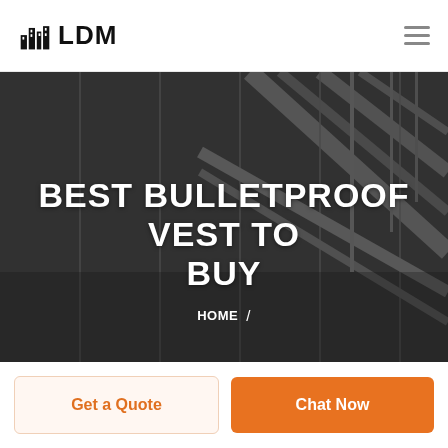LDM
BEST BULLETPROOF VEST TO BUY
HOME /
Get a Quote
Chat Now